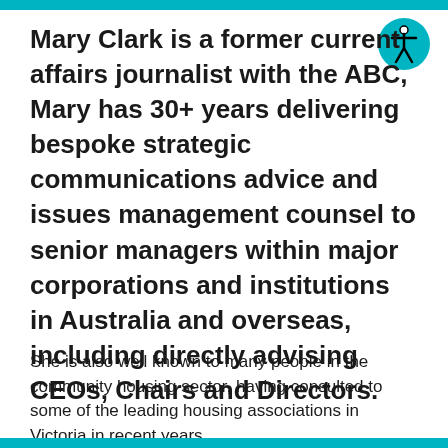Mary Clark is a former current affairs journalist with the ABC, Mary has 30+ years delivering bespoke strategic communications advice and issues management counsel to senior managers within major corporations and institutions in Australia and overseas, including directly advising CEOs, Chairs and Directors.
She is also well known to many people in the community housing sector, having consulted to some of the leading housing associations in Victoria in recent years.